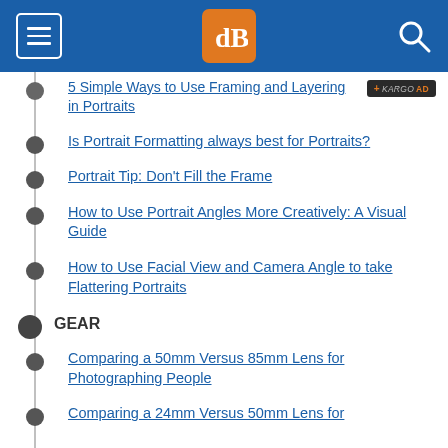dPS [digital photography school logo]
5 Simple Ways to Use Framing and Layering in Portraits
Is Portrait Formatting always best for Portraits?
Portrait Tip: Don't Fill the Frame
How to Use Portrait Angles More Creatively: A Visual Guide
How to Use Facial View and Camera Angle to take Flattering Portraits
GEAR
Comparing a 50mm Versus 85mm Lens for Photographing People
Comparing a 24mm Versus 50mm Lens for